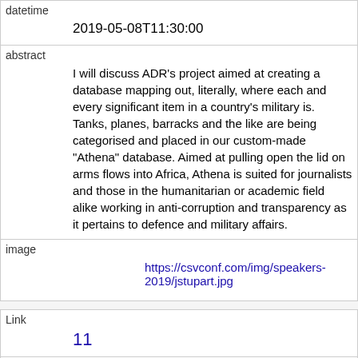| datetime | 2019-05-08T11:30:00 |
| abstract | I will discuss ADR's project aimed at creating a database mapping out, literally, where each and every significant item in a country's military is. Tanks, planes, barracks and the like are being categorised and placed in our custom-made "Athena" database. Aimed at pulling open the lid on arms flows into Africa, Athena is suited for journalists and those in the humanitarian or academic field alike working in anti-corruption and transparency as it pertains to defence and military affairs. |
| image | https://csvconf.com/img/speakers-2019/jstupart.jpg |
| Link | 11 |
| rowid | 11 |